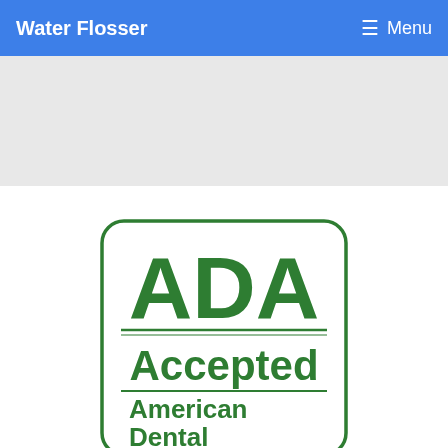Water Flosser
[Figure (other): Gray advertisement banner placeholder area]
[Figure (logo): ADA Accepted - American Dental Association seal/logo with green text on white rounded rectangle border]